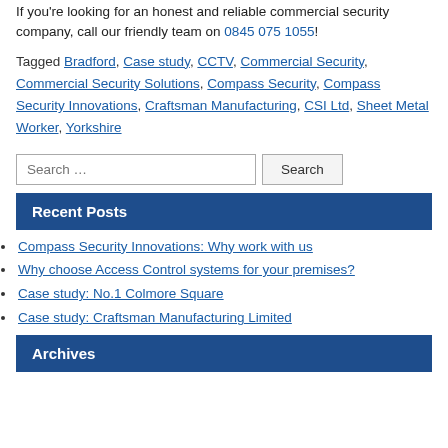If you're looking for an honest and reliable commercial security company, call our friendly team on 0845 075 1055!
Tagged Bradford, Case study, CCTV, Commercial Security, Commercial Security Solutions, Compass Security, Compass Security Innovations, Craftsman Manufacturing, CSI Ltd, Sheet Metal Worker, Yorkshire
Search …  [Search button]
Recent Posts
Compass Security Innovations: Why work with us
Why choose Access Control systems for your premises?
Case study: No.1 Colmore Square
Case study: Craftsman Manufacturing Limited
Archives